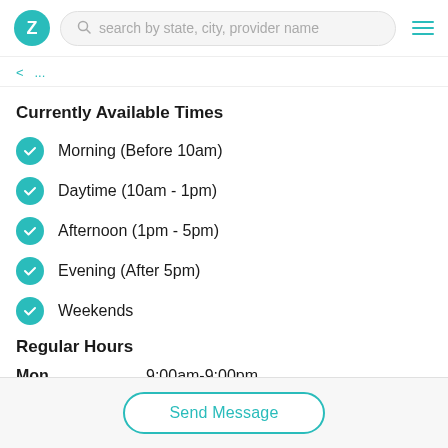Z | search by state, city, provider name
Currently Available Times
Morning (Before 10am)
Daytime (10am - 1pm)
Afternoon (1pm - 5pm)
Evening (After 5pm)
Weekends
Regular Hours
Mon   9:00am-9:00pm
Send Message